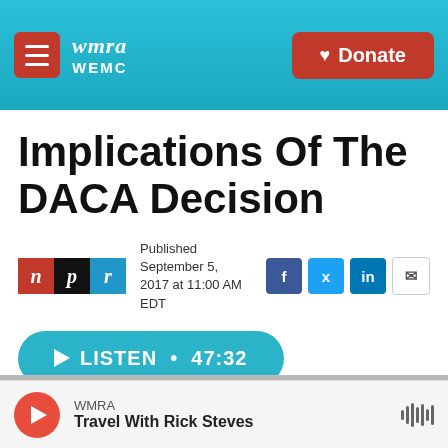wmra WEMC | Donate
Implications Of The DACA Decision
Published September 5, 2017 at 11:00 AM EDT
LISTEN • 47:32
[Figure (photo): Protest sign reading 'WE ARE' held up at a demonstration]
WMRA · Travel With Rick Steves